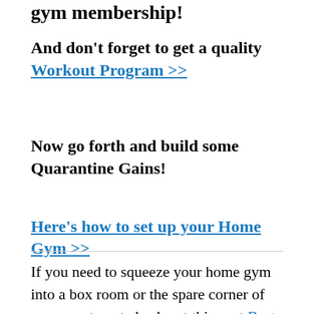gym membership!
And don't forget to get a quality Workout Program >>
Now go forth and build some Quarantine Gains!
Here's how to set up your Home Gym >>
If you need to squeeze your home gym into a box room or the spare corner of your apartment check out this post Best compact home gym for limited space (buyer's guide) for some decent options that will help you get the most out of your space.